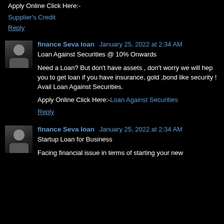Apply Online Click Here:-
Supplier's Credit
Reply
finance Seva loan January 25, 2022 at 2:34 AM
Loan Against Securities @ 10% Onwards
Need a Loan? But don't have assets , don't worry we will hep you to get loan if you have insurance, gold ,bond like security ! Avail Loan Against Securities.
Apply Online Click Here:-Loan Against Securities
Reply
finance Seva loan January 25, 2022 at 2:34 AM
Startup Loan for Business
Facing financial issue in terms of starting your new